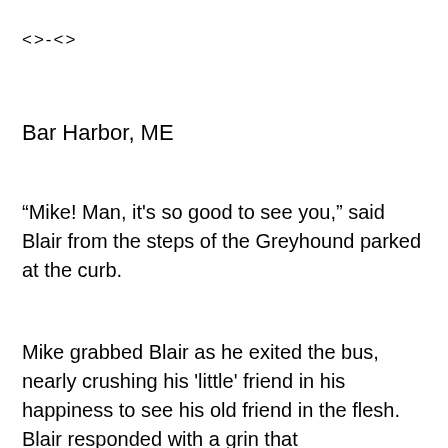<>-<>
Bar Harbor, ME
“Mike! Man, it's so good to see you,” said Blair from the steps of the Greyhound parked at the curb.
Mike grabbed Blair as he exited the bus, nearly crushing his 'little' friend in his happiness to see his old friend in the flesh. Blair responded with a grin that